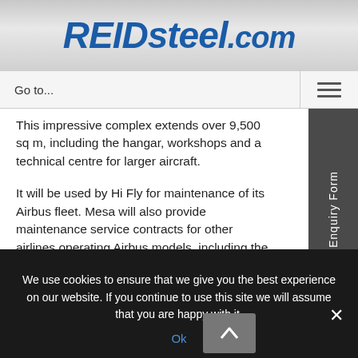REIDsteel.com
Go to...
This impressive complex extends over 9,500 sq m, including the hangar, workshops and a technical centre for larger aircraft.
It will be used by Hi Fly for maintenance of its Airbus fleet. Mesa will also provide maintenance service contracts for other airlines operating Airbus models, including the mighty
Enquiry Form
We use cookies to ensure that we give you the best experience on our website. If you continue to use this site we will assume that you are happy with it.
Ok